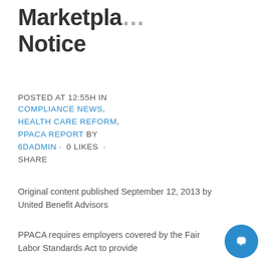Marketplace/Exc... Notice
POSTED AT 12:55H IN COMPLIANCE NEWS, HEALTH CARE REFORM, PPACA REPORT BY 6DADMIN · 0 LIKES · SHARE
Original content published September 12, 2013 by United Benefit Advisors
PPACA requires employers covered by the Fair Labor Standards Act to provide